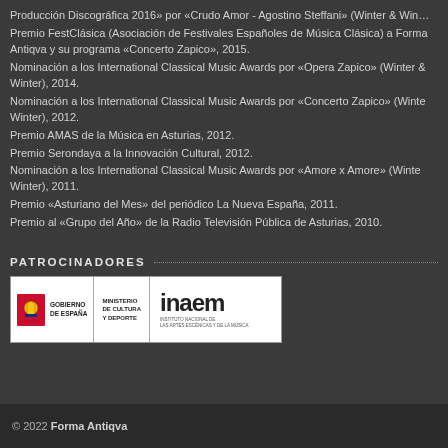Producción Discográfica 2016» por «Crudo Amor - Agostino Steffani» (Winter & Win…
Premio FestClásica (Asociación de Festivales Españoles de Música Clásica) a Forma Antiqva y su programa «Concerto Zapico», 2015.
Nominación a los International Classical Music Awards por «Opera Zapico» (Winter & Winter), 2014.
Nominación a los International Classical Music Awards por «Concerto Zapico» (Winter & Winter), 2012.
Premio AMAS de la Música en Asturias, 2012.
Premio Serondaya a la Innovación Cultural, 2012.
Nominación a los International Classical Music Awards por «Amore x Amore» (Winter & Winter), 2011.
Premio «Asturiano del Mes» del periódico La Nueva España, 2011.
Premio al «Grupo del Año» de la Radio Televisión Pública de Asturias, 2010.
PATROCINADORES
[Figure (logo): Logos of Gobierno de España, Ministerio de Cultura y Deporte, and INAEM (Instituto Nacional de las Artes Escénicas y de la Música)]
© 2022 Forma Antiqva